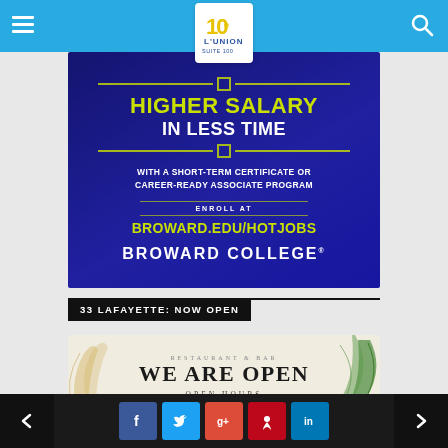L'Union — navigation header with hamburger menu, logo, and search icon
[Figure (infographic): Broward College advertisement banner — dark blue background with text: HIGHER SALARY IN LESS TIME / WITH A SHORT-TERM CERTIFICATE OR CAREER-READY ASSOCIATE PROGRAM / ENROLL AT BROWARD.EDU/HOTJOBS / BROWARD COLLEGE]
33 LAFAYETTE: NOW OPEN
[Figure (infographic): Restaurant & Bar advertisement — beige/cream background with tropical leaf decorations — text: RESTAURANT & BAR / WE ARE OPEN / OPEN HOURS]
Navigation: previous arrow, social share buttons (Facebook, Twitter, Google+, Pinterest, LinkedIn), next arrow